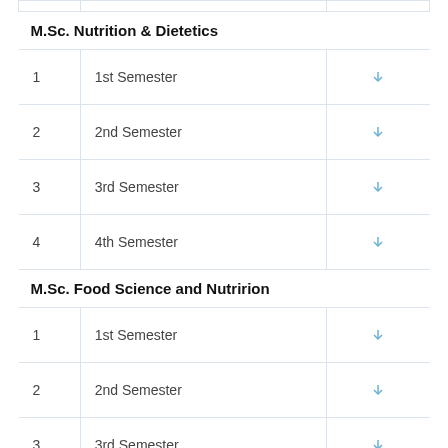| # | Semester | Download |
| --- | --- | --- |
| M.Sc. Nutrition & Dietetics |  |  |
| 1 | 1st Semester | ↓ |
| 2 | 2nd Semester | ↓ |
| 3 | 3rd Semester | ↓ |
| 4 | 4th Semester | ↓ |
| M.Sc. Food Science and Nutririon |  |  |
| 1 | 1st Semester | ↓ |
| 2 | 2nd Semester | ↓ |
| 3 | 3rd Semester | ↓ |
| 4 | 4th Semester | ↓ |
| M.Sc. in Medical Laboratory Technology |  |  |
| 1 | 1st Semester | ↓ |